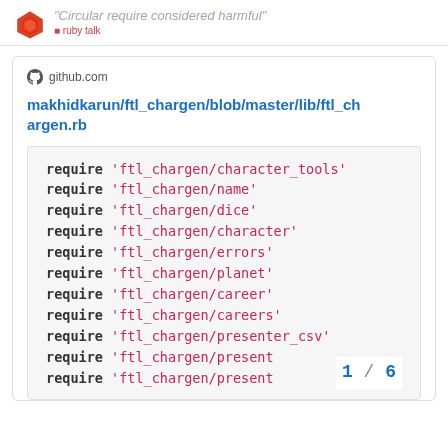"Circular require considered harmful"
github.com
makhidkarun/ftl_chargen/blob/master/lib/ftl_chargen.rb
[Figure (screenshot): Code block showing Ruby require statements for ftl_chargen library modules]
1 / 6